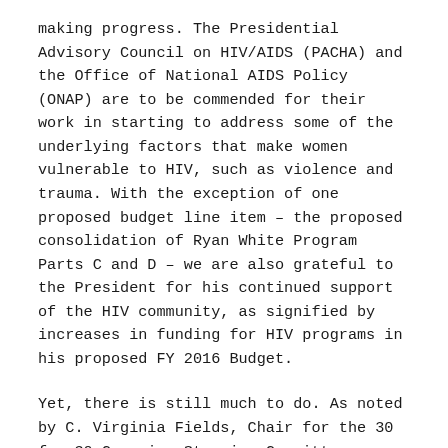making progress. The Presidential Advisory Council on HIV/AIDS (PACHA) and the Office of National AIDS Policy (ONAP) are to be commended for their work in starting to address some of the underlying factors that make women vulnerable to HIV, such as violence and trauma. With the exception of one proposed budget line item – the proposed consolidation of Ryan White Program Parts C and D – we are also grateful to the President for his continued support of the HIV community, as signified by increases in funding for HIV programs in his proposed FY 2016 Budget.
Yet, there is still much to do. As noted by C. Virginia Fields, Chair for the 30 for 30 Campaign Steering Committee: “Socio-economic hardships and gender-based inequalities are underlying social stressors that increase a